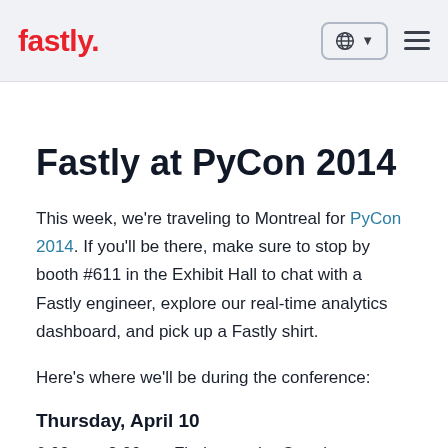fastly. [globe icon] [hamburger menu]
Fastly at PyCon 2014
This week, we're traveling to Montreal for PyCon 2014. If you'll be there, make sure to stop by booth #611 in the Exhibit Hall to chat with a Fastly engineer, explore our real-time analytics dashboard, and pick up a Fastly shirt.
Here's where we'll be during the conference:
Thursday, April 10
6:00pm - 8:00pm: Find us at the Opening Reception in